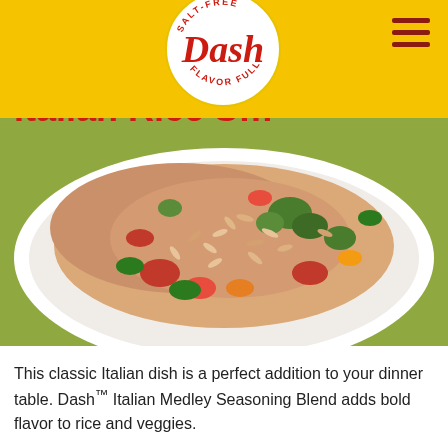Dash Salt-Free Flavor Full logo
Italian Rice S…
[Figure (photo): A white plate filled with Italian orzo rice salad with broccoli, red tomatoes, green and yellow bell peppers, on a green placemat background.]
This classic Italian dish is a perfect addition to your dinner table. Dash™ Italian Medley Seasoning Blend adds bold flavor to rice and veggies.